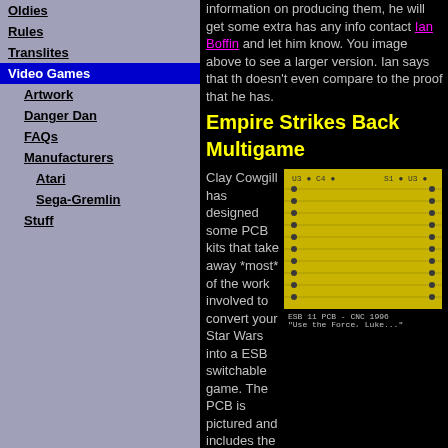Oldies
Rules
Translites
Video Games (active)
Artwork
Danger Dan
FAQs
Manufacturers
Atari
Sega-Gremlin
Stuff
information on producing them, he will get some ext... has any info contact Ian Boffin and let him know. You image above to see a larger version. Ian says that th... doesn't even compare to the proof that he has.
Empire Strikes Back Multigame
Clay Cowgill has designed some PCB kits that take away *most* of the work involved to convert your Star Wars into a ESB switchable game. The PCB is pictured and includes the basics. You will need to get yourself a PAL and the appropriate ROMs however. (Sorry I don't have the capability to burn PA...
[Figure (photo): PCB board image for ESB 11 PCB - CNC 1996 with caption 'Use the Force, Luke...']
Look What's Talking!!
Quadravox Speech Producs has done some master... code "QBox" to help implement speech on the old(a... Speech Synthesizer. This has been a Major hurdle f... year...but their version of QBox5220 will let you take... speech and encode it into raw binary LPC code fit fo... Granted you will still need to figure out how to put th... ROM's but that is for a later discussion. In my *new*... Havoc (Should be done next summer) I will add the ... the game and this new tool will make it possible...